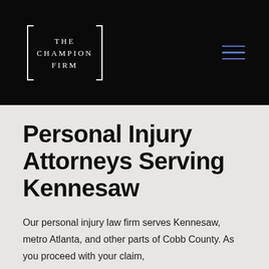[Figure (logo): The Champion Firm logo — white rectangular border with serif text reading THE CHAMPION FIRM on a black background]
Personal Injury Attorneys Serving Kennesaw
Our personal injury law firm serves Kennesaw, metro Atlanta, and other parts of Cobb County. As you proceed with your claim,